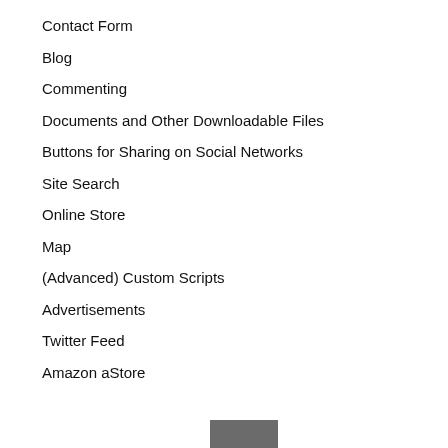Contact Form
Blog
Commenting
Documents and Other Downloadable Files
Buttons for Sharing on Social Networks
Site Search
Online Store
Map
(Advanced) Custom Scripts
Advertisements
Twitter Feed
Amazon aStore